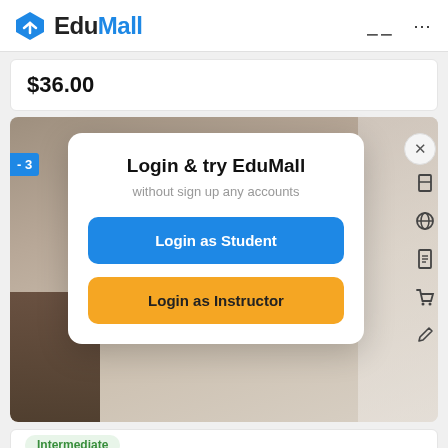EduMall
$36.00
[Figure (screenshot): EduMall login modal dialog overlaying a course card. Modal contains title 'Login & try EduMall', subtitle 'without sign up any accounts', a blue 'Login as Student' button, and a yellow 'Login as Instructor' button. A close X button appears in top right. A blue badge showing '-3' is visible on the left edge.]
Login & try EduMall
without sign up any accounts
Login as Student
Login as Instructor
Intermediate